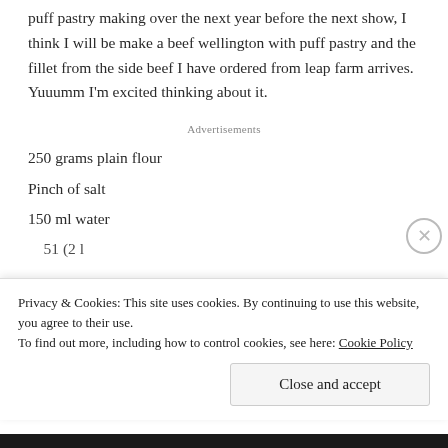puff pastry making over the next year before the next show, I think I will be make a beef wellington with puff pastry and the fillet from the side beef I have ordered from leap farm arrives. Yuuumm I'm excited thinking about it.
Advertisements
250 grams plain flour
Pinch of salt
150 ml water
Privacy & Cookies: This site uses cookies. By continuing to use this website, you agree to their use.
To find out more, including how to control cookies, see here: Cookie Policy
Close and accept